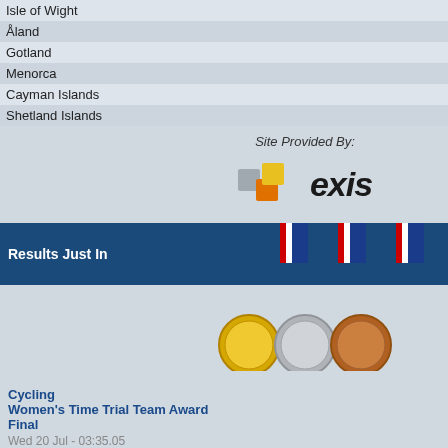|  |  |  |  |
| --- | --- | --- | --- |
| Isle of Wight | 17 | 15 | 21 |
| Åland | 14 | 7 | 13 |
| Gotland | 9 | 12 | 21 |
| Menorca | 8 | 8 | 12 |
| Cayman Islands | 8 | 7 | 8 |
| Shetland Islands | 7 | 4 | 4 |
Site Provided By:
[Figure (logo): Exis logo with colored block shapes and bold 'exis' text]
Results Just In
[Figure (illustration): Three medals: gold, silver, bronze with red/white/blue ribbons]
Cycling
Women's Time Trial Team Award Final
Wed 20 Jul - 03:35.05
Football
Men's Football Medal Matches
Fri 01 Jul - 06:47.22
Basketball
Women's Basketball Medal Matches
Sport Schedule:
Sport: Archery
Event Schedule:
Event: Single FITA Compou...
Venue Schedule:
Venue: Brading Town Footba...
Schedule For: Single FITA...
View Archery Results View Archery ...
| Date | Time |
| --- | --- |
| Mon 27 Jun | 10:0... |